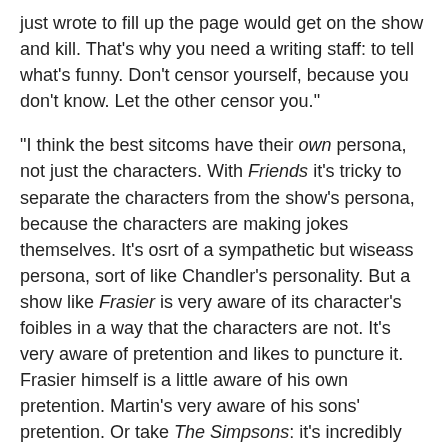just wrote to fill up the page would get on the show and kill. That's why you need a writing staff: to tell what's funny. Don't censor yourself, because you don't know. Let the other censor you."
"I think the best sitcoms have their own persona, not just the characters. With Friends it's tricky to separate the characters from the show's persona, because the characters are making jokes themselves. It's osrt of a sympathetic but wiseass persona, sort of like Chandler's personality. But a show like Frasier is very aware of its character's foibles in a way that the characters are not. It's very aware of pretention and likes to puncture it. Frasier himself is a little aware of his own pretention. Martin's very aware of his sons' pretention. Or take The Simpsons: it's incredibly smart and satirical, in a way that none of its characters are. Lisa's smart but sincere. No one's sharp and satirical on that show the way the show is itself."
"I got my job writing for Dennis Miller by being in the right place at the right time. At the end of my first year at USC, I got an internship at Second City Productions, which was